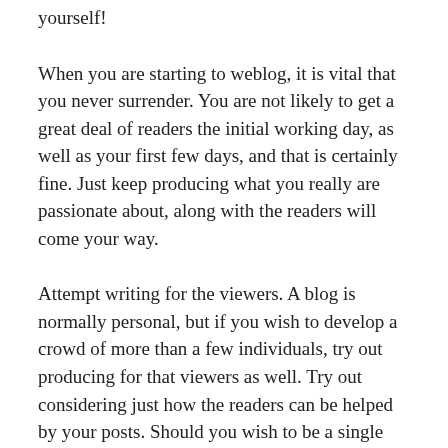yourself!
When you are starting to weblog, it is vital that you never surrender. You are not likely to get a great deal of readers the initial working day, as well as your first few days, and that is certainly fine. Just keep producing what you really are passionate about, along with the readers will come your way.
Attempt writing for the viewers. A blog is normally personal, but if you wish to develop a crowd of more than a few individuals, try out producing for that viewers as well. Try out considering just how the readers can be helped by your posts. Should you wish to be a single beneficiary here, you must produce a private journal.
Using social websites websites is the best way to produce curiosity and get more traffic to your weblog.